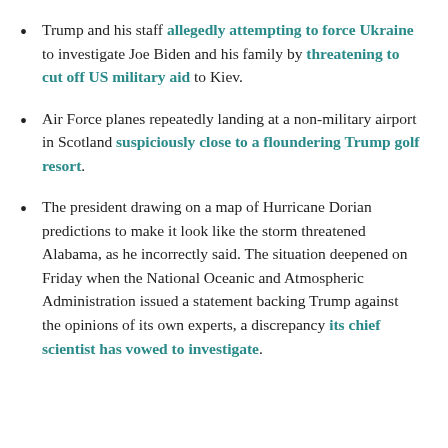Trump and his staff allegedly attempting to force Ukraine to investigate Joe Biden and his family by threatening to cut off US military aid to Kiev.
Air Force planes repeatedly landing at a non-military airport in Scotland suspiciously close to a floundering Trump golf resort.
The president drawing on a map of Hurricane Dorian predictions to make it look like the storm threatened Alabama, as he incorrectly said. The situation deepened on Friday when the National Oceanic and Atmospheric Administration issued a statement backing Trump against the opinions of its own experts, a discrepancy its chief scientist has vowed to investigate.